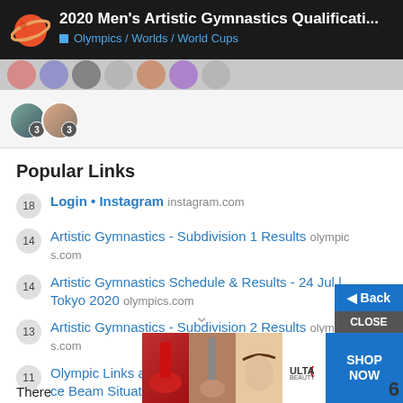2020 Men's Artistic Gymnastics Qualificati... Olympics / Worlds / World Cups
[Figure (screenshot): Row of faded user avatar circles in grey strip]
[Figure (screenshot): Two user avatar circles with badges showing '3' each]
Popular Links
18  Login • Instagram  instagram.com
14  Artistic Gymnastics - Subdivision 1 Results  olympics.com
14  Artistic Gymnastics Schedule & Results - 24 Jul | Tokyo 2020  olympics.com
13  Artistic Gymnastics - Subdivision 2 Results  olympics.com
11  Olympic Links and Session Previews | The Balance Beam Situation  balancebeamsituatio...
There
[Figure (screenshot): Advertisement banner with makeup/beauty images and ULTA logo, SHOP NOW button, and Back/Close overlay buttons]